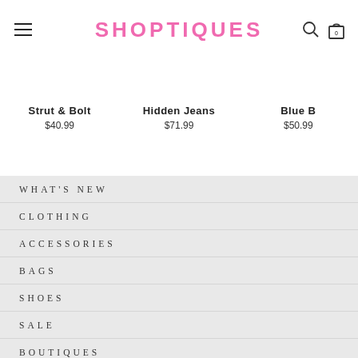SHOPTIQUES
Strut & Bolt $40.99 | Hidden Jeans $71.99 | Blue B $50.99
WHAT'S NEW
CLOTHING
ACCESSORIES
BAGS
SHOES
SALE
BOUTIQUES